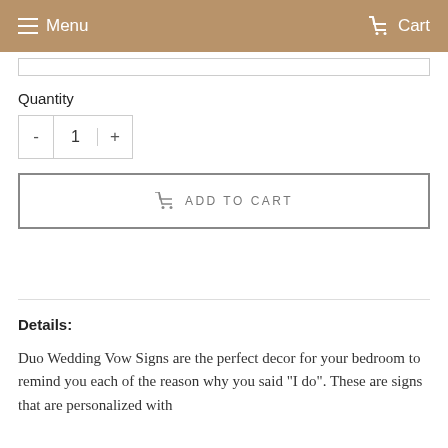Menu  Cart
Quantity
- 1 +
ADD TO CART
Details:
Duo Wedding Vow Signs are the perfect decor for your bedroom to remind you each of the reason why you said "I do". These are signs that are personalized with